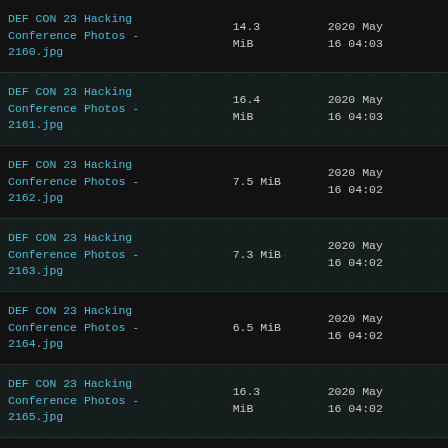DEF CON 23 Hacking Conference Photos - 2160.jpg | 14.3 MiB | 2020 May 16 04:03
DEF CON 23 Hacking Conference Photos - 2161.jpg | 16.4 MiB | 2020 May 16 04:03
DEF CON 23 Hacking Conference Photos - 2162.jpg | 7.5 MiB | 2020 May 16 04:02
DEF CON 23 Hacking Conference Photos - 2163.jpg | 7.3 MiB | 2020 May 16 04:02
DEF CON 23 Hacking Conference Photos - 2164.jpg | 6.5 MiB | 2020 May 16 04:02
DEF CON 23 Hacking Conference Photos - 2165.jpg | 16.3 MiB | 2020 May 16 04:02
DEF CON 23 Hacking Conference Photos - (partial)